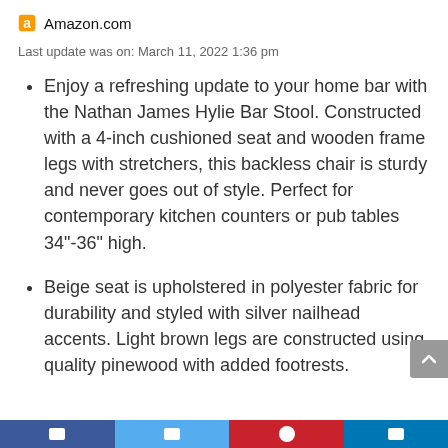Amazon.com
Last update was on: March 11, 2022 1:36 pm
Enjoy a refreshing update to your home bar with the Nathan James Hylie Bar Stool. Constructed with a 4-inch cushioned seat and wooden frame legs with stretchers, this backless chair is sturdy and never goes out of style. Perfect for contemporary kitchen counters or pub tables 34"-36" high.
Beige seat is upholstered in polyester fabric for durability and styled with silver nailhead accents. Light brown legs are constructed using quality pinewood with added footrests.